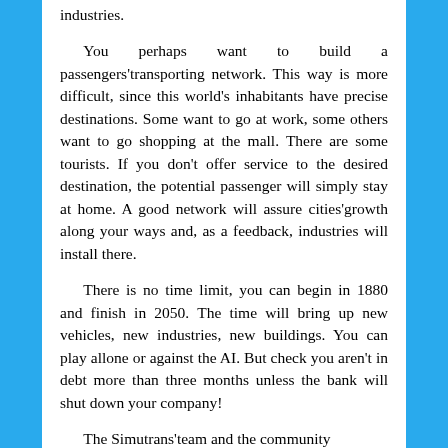…you could attend your network to land industries.
You perhaps want to build a passengers'transporting network. This way is more difficult, since this world's inhabitants have precise destinations. Some want to go at work, some others want to go shopping at the mall. There are some tourists. If you don't offer service to the desired destination, the potential passenger will simply stay at home. A good network will assure cities'growth along your ways and, as a feedback, industries will install there.
There is no time limit, you can begin in 1880 and finish in 2050. The time will bring up new vehicles, new industries, new buildings. You can play allone or against the AI. But check you aren't in debt more than three months unless the bank will shut down your company!
The Simutrans'team and the community